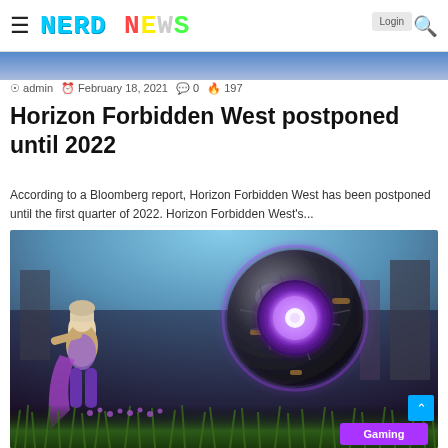NERD NEWS
admin  February 18, 2021  0  197
Horizon Forbidden West postponed until 2022
According to a Bloomberg report, Horizon Forbidden West has been postponed until the first quarter of 2022. Horizon Forbidden West's...
[Figure (photo): Game screenshot showing a character facing a large robotic spherical enemy with glowing purple rings, set in a post-apocalyptic outdoor environment with grass and ruined buildings. Gaming badge in bottom right corner reads 'Gaming'.]